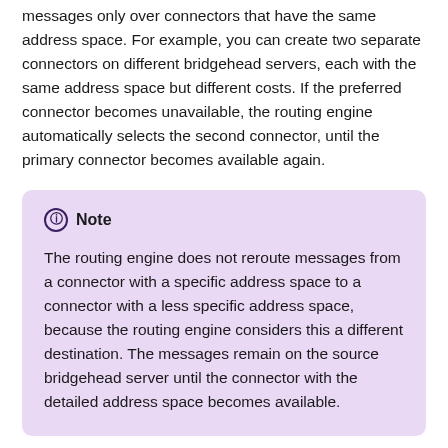messages only over connectors that have the same address space. For example, you can create two separate connectors on different bridgehead servers, each with the same address space but different costs. If the preferred connector becomes unavailable, the routing engine automatically selects the second connector, until the primary connector becomes available again.
Note
The routing engine does not reroute messages from a connector with a specific address space to a connector with a less specific address space, because the routing engine considers this a different destination. The messages remain on the source bridgehead server until the connector with the detailed address space becomes available.